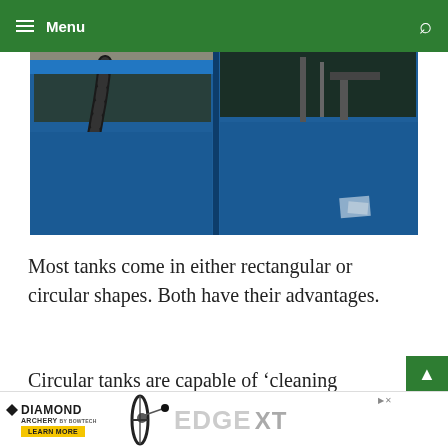Menu
[Figure (photo): Blue rectangular aquaculture tank filled with water, with flexible black hose/pipe on the left side and piping equipment visible inside the water on the right side. Two blue tanks are shown side by side in an industrial/greenhouse setting.]
Most tanks come in either rectangular or circular shapes. Both have their advantages.
Circular tanks are capable of ‘cleaning themselves’ and rectangular tanks are the largest in the aquaculture recurlating tank
[Figure (other): Diamond Archery advertisement banner showing archery bow equipment with EDGE XT text and Learn More button]